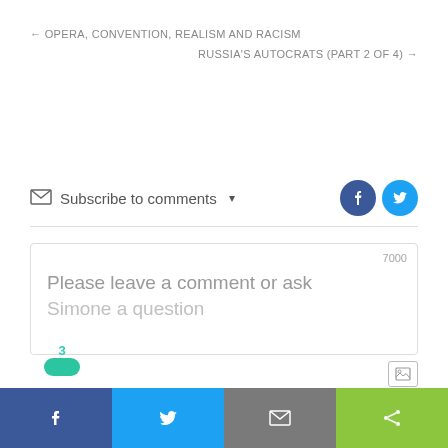← OPERA, CONVENTION, REALISM AND RACISM
RUSSIA'S AUTOCRATS (PART 2 OF 4) →
Subscribe to comments ▾
Please leave a comment or ask Simone a question
f  [twitter bird]  [envelope]  [share]